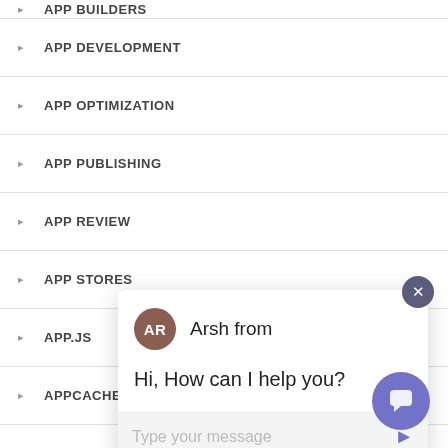APP BUILDERS
APP DEVELOPMENT
APP OPTIMIZATION
APP PUBLISHING
APP REVIEW
APP STORES
APP.JS
APPCACHE PITFALLS
APPENGINE
APPLE
[Figure (screenshot): Chat widget overlay showing agent 'Arsh' with avatar 'AR', greeting message 'Hi, How can I help you?', text input field with placeholder 'Type your message', a send button, a close button (X), and a purple chat launcher button at bottom right.]